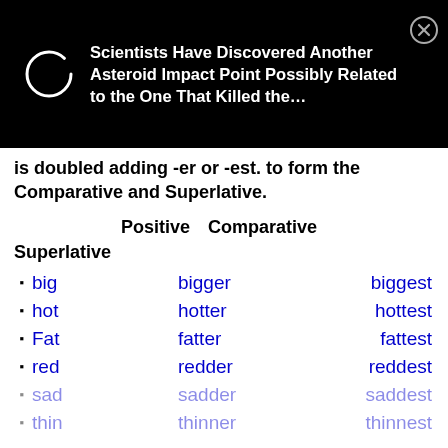[Figure (screenshot): Notification overlay on black background showing a loading circle icon on the left and text: 'Scientists Have Discovered Another Asteroid Impact Point Possibly Related to the One That Killed the…' with a close (X) button in the top right.]
is doubled adding -er or -est. to form the Comparative and Superlative.
| Positive | Comparative | Superlative |
| --- | --- | --- |
| big | bigger | biggest |
| hot | hotter | hottest |
| Fat | fatter | fattest |
| red | redder | reddest |
| sad | sadder | saddest |
| thin | thinner | thinnest |